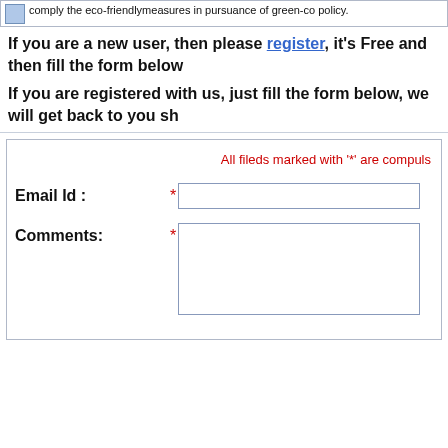comply the eco-friendlymeasures in pursuance of green-co policy.
If you are a new user, then please register, it's Free and then fill the form below
If you are registered with us, just fill the form below, we will get back to you shortly
All fileds marked with '*' are compulsory
Email Id :
Comments: